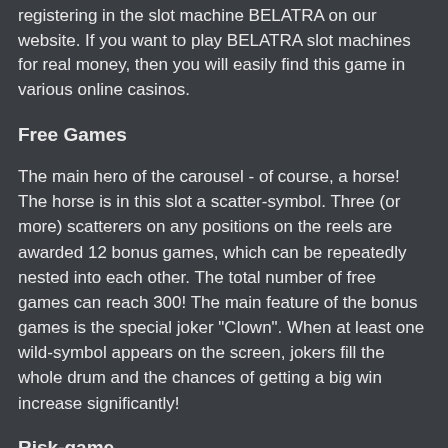registering in the slot machine BELATRA on our website. If you want to play BELATRA slot machines for real money, then you will easily find this game in various online casinos.
Free Games
The main hero of the carousel - of course, a horse! The horse is in this slot a scatter-symbol. Three (or more) scatterers on any positions on the reels are awarded 12 bonus games, which can be repeatedly nested into each other. The total number of free games can reach 300! The main feature of the bonus games is the special joker "Clown". When at least one wild-symbol appears on the screen, jokers fill the whole drum and the chances of getting a big win increase significantly!
Risk-game
The double "Red-Black-Suit" offers an excellent